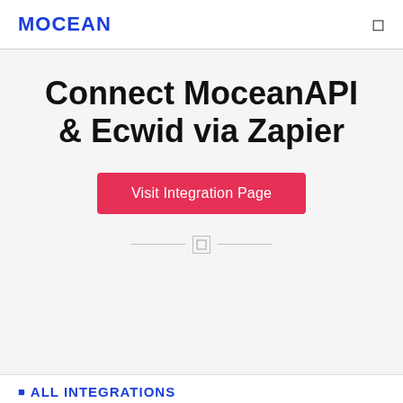MOCEAN
Connect MoceanAPI & Ecwid via Zapier
Visit Integration Page
ALL INTEGRATIONS